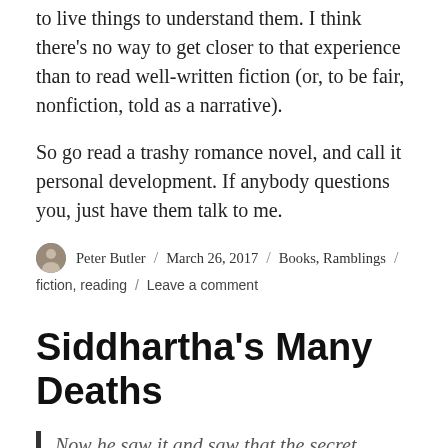to live things to understand them. I think there's no way to get closer to that experience than to read well-written fiction (or, to be fair, nonfiction, told as a narrative).
So go read a trashy romance novel, and call it personal development.  If anybody questions you, just have them talk to me.
Peter Butler / March 26, 2017 / Books, Ramblings / fiction, reading / Leave a comment
Siddhartha's Many Deaths
Now he saw it and saw that the secret